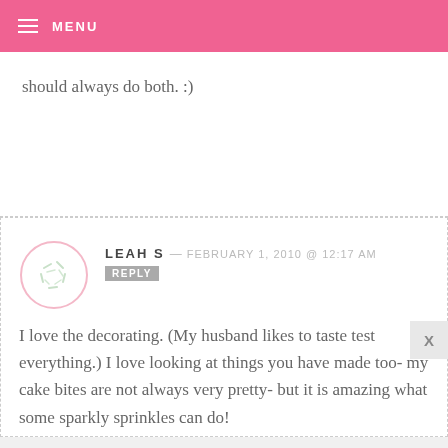MENU
should always do both. :)
LEAH S — FEBRUARY 1, 2010 @ 12:17 AM REPLY
I love the decorating. (My husband likes to taste test everything.) I love looking at things you have made too- my cake bites are not always very pretty- but it is amazing what some sparkly sprinkles can do!